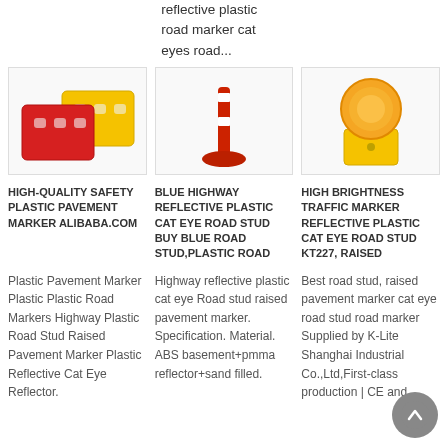reflective plastic road marker cat eyes road...
[Figure (photo): Red and yellow safety plastic pavement barriers/markers]
[Figure (photo): Blue highway reflective plastic cat eye road stud on red pole]
[Figure (photo): High brightness traffic marker with orange light on yellow base]
HIGH-QUALITY SAFETY PLASTIC PAVEMENT MARKER ALIBABA.COM
BLUE HIGHWAY REFLECTIVE PLASTIC CAT EYE ROAD STUD BUY BLUE ROAD STUD,PLASTIC ROAD
HIGH BRIGHTNESS TRAFFIC MARKER REFLECTIVE PLASTIC CAT EYE ROAD STUD KT227, RAISED
Plastic Pavement Marker Plastic Plastic Road Markers Highway Plastic Road Stud Raised Pavement Marker Plastic Reflective Cat Eye Reflector.
Highway reflective plastic cat eye Road stud raised pavement marker. Specification. Material. ABS basement+pmma reflector+sand filled.
Best road stud, raised pavement marker cat eye road stud road marker Supplied by K-Lite Shanghai Industrial Co.,Ltd,First-class production | CE and